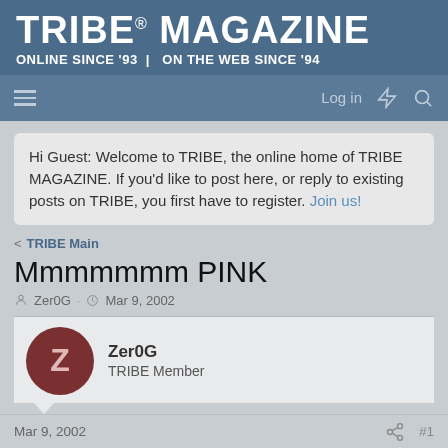TRIBE® MAGAZINE
ONLINE SINCE '93 | ON THE WEB SINCE '94
Hi Guest: Welcome to TRIBE, the online home of TRIBE MAGAZINE. If you'd like to post here, or reply to existing posts on TRIBE, you first have to register. Join us!
< TRIBE Main
Mmmmmmm PINK
Zer0G · Mar 9, 2002
Zer0G
TRIBE Member
Mar 9, 2002
#1